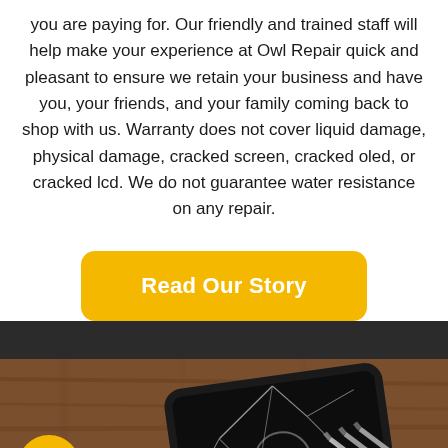you are paying for. Our friendly and trained staff will help make your experience at Owl Repair quick and pleasant to ensure we retain your business and have you, your friends, and your family coming back to shop with us. Warranty does not cover liquid damage, physical damage, cracked screen, cracked oled, or cracked lcd. We do not guarantee water resistance on any repair.
[Figure (other): Yellow rounded button with white text reading 'Read Our Story']
[Figure (photo): Photo of a cracked smartphone screen lying on a wooden surface with screwdrivers nearby, with a dark header section above. A yellow circular phone/call icon is overlaid in the bottom-left corner.]